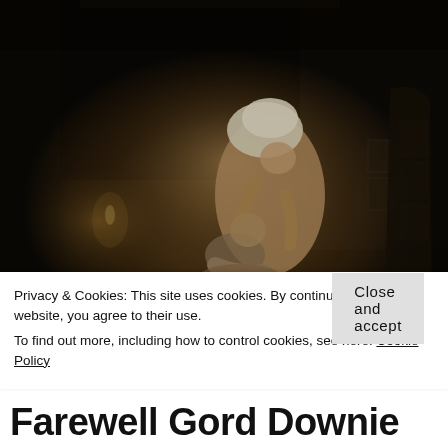[Figure (illustration): Dark oil painting depicting a woman in white headscarf bending over a child in a dimly lit stone interior. The scene is reminiscent of a Rembrandt-style chiaroscuro painting with warm candlelight illuminating the figures against a dark background.]
Privacy & Cookies: This site uses cookies. By continuing to use this website, you agree to their use.
To find out more, including how to control cookies, see here: Cookie Policy
Close and accept
Farewell Gord Downie